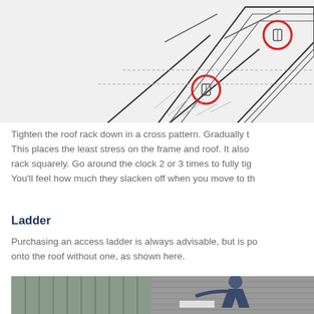[Figure (engineering-diagram): Technical line drawing of a roof rack installation showing cross-pattern tightening points highlighted with red circles, depicting the frame clamps on a sloped roof structure.]
Tighten the roof rack down in a cross pattern. Gradually t... This places the least stress on the frame and roof. It also... rack squarely. Go around the clock 2 or 3 times to fully tig... You'll feel how much they slacken off when you move to th...
Ladder
Purchasing an access ladder is always advisable, but is po... onto the roof without one, as shown here.
[Figure (photo): Photograph of a person climbing onto a metal roof near a roller door without using a ladder.]